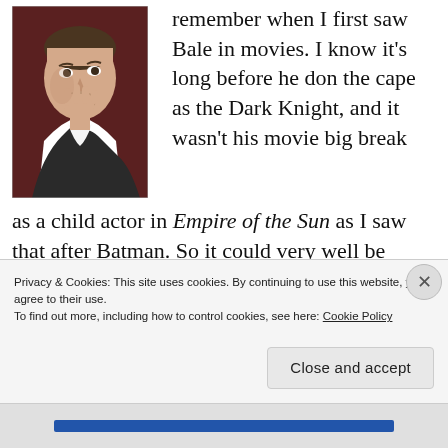[Figure (photo): A man in period costume, wearing a white ruffled shirt and dark jacket, holding his hand near his chin in a thoughtful pose. The background is dark reddish-brown.]
remember when I first saw Bale in movies. I know it's long before he don the cape as the Dark Knight, and it wasn't his movie big break as a child actor in Empire of the Sun as I saw that after Batman. So it could very well be
Privacy & Cookies: This site uses cookies. By continuing to use this website, you agree to their use.
To find out more, including how to control cookies, see here: Cookie Policy
Close and accept